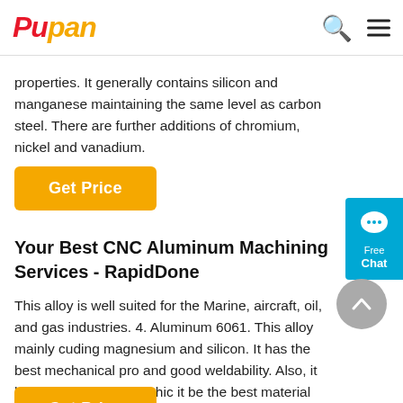Pupan
properties. It generally contains silicon and manganese maintaining the same level as carbon steel. There are further additions of chromium, nickel and vanadium.
[Figure (other): Orange 'Get Price' button]
Your Best CNC Aluminum Machining Services - RapidDone
This alloy is well suited for the Marine, aircraft, oil, and gas industries. 4. Aluminum 6061. This alloy mainly cuding magnesium and silicon. It has the best mechanical pro and good weldability. Also, it has cool anodization whic it be the best material option for extrusion application.
[Figure (other): Partially visible orange 'Get Price' button at bottom]